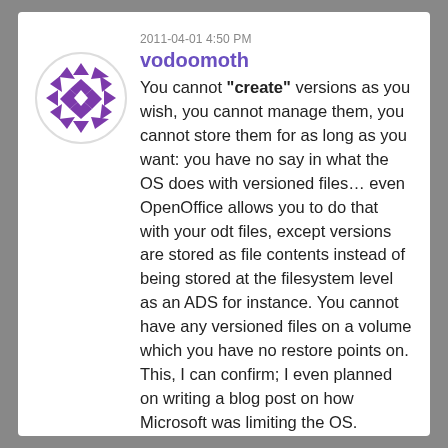2011-04-01 4:50 PM
vodoomoth
[Figure (illustration): Circular avatar with a purple geometric diamond/diamond pattern on white background]
You cannot **create** versions as you wish, you cannot manage them, you cannot store them for as long as you want: you have no say in what the OS does with versioned files… even OpenOffice allows you to do that with your odt files, except versions are stored as file contents instead of being stored at the filesystem level as an ADS for instance. You cannot have any versioned files on a volume which you have no restore points on. This, I can confirm; I even planned on writing a blog post on how Microsoft was limiting the OS.
Apparently, you're the only one to have noticed it's in the context menu… Apparently it's calling Cleverand it...